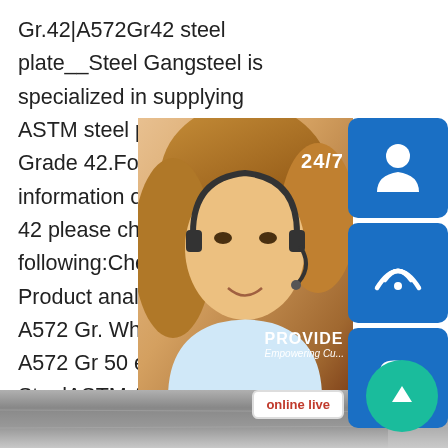Gr.42|A572Gr42 steel plate__Steel Gangsteel is specialized in supplying ASTM steel plate in A572 Grade 42.For more information of A572 Grade 42 please check them in following:Chemical of the Product analysis of grade A572 Gr. What is ASTM A572 Gr 50 equivalent m SteelASTM A572 Gr 50 HSLA steel has used in the manufacture of engineering m bridges, high-rise buildings, boilers and p electric power and various vehicles. The equivalent standards and materials of ASTM A572 50 HSLA steel. What is ASTM A572 Gr 50 equivalent material?
[Figure (photo): Customer service representative with headset, with blue icon boxes overlaid showing 24/7 support icons (headset icon, phone icon, Skype icon), an online live button, and a teal back-to-top arrow button]
[Figure (photo): Bottom portion of a steel plate surface, showing metallic gray texture]